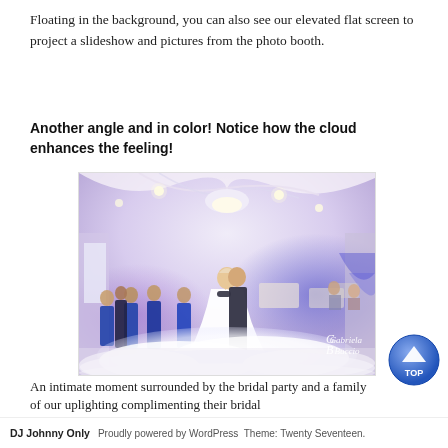Floating in the background, you can also see our elevated flat screen to project a slideshow and pictures from the photo booth.
Another angle and in color! Notice how the cloud enhances the feeling!
[Figure (photo): Wedding reception hall with a couple sharing their first dance. Bride in white dress and groom in dark suit dancing on a cloud-effect dance floor. Bridal party in royal blue dresses surrounds them. Purple/blue uplighting, draped white fabric ceiling, recessed lighting. Watermark reads 'Gabriela Buccio'.]
An intimate moment surrounded by the bridal party and a family of our uplighting complimenting their bridal
DJ Johnny Only   Proudly powered by WordPress Theme: Twenty Seventeen.